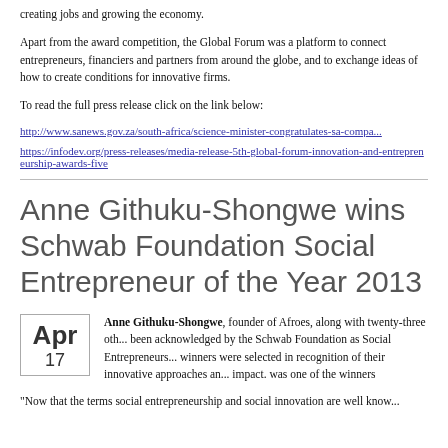creating jobs and growing the economy.
Apart from the award competition, the Global Forum was a platform to connect entrepreneurs, financiers and partners from around the globe, and to exchange ideas of how to create conditions for innovative firms.
To read the full press release click on the link below:
http://www.sanews.gov.za/south-africa/science-minister-congratulates-sa-compa...
https://infodev.org/press-releases/media-release-5th-global-forum-innovation-and-entrepreneurship-awards-five
Anne Githuku-Shongwe wins Schwab Foundation Social Entrepreneur of the Year 2013
Anne Githuku-Shongwe, founder of Afroes, along with twenty-three oth... been acknowledged by the Schwab Foundation as Social Entrepreneurs... winners were selected in recognition of their innovative approaches an... impact. was one of the winners
“Now that the terms social entrepreneurship and social innovation are well know...